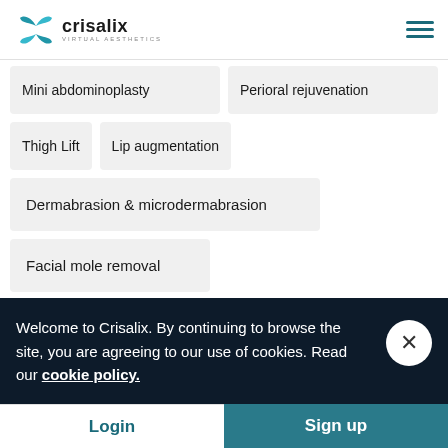Crisalix Virtual Aesthetics
Mini abdominoplasty
Perioral rejuvenation
Thigh Lift
Lip augmentation
Dermabrasion & microdermabrasion
Facial mole removal
Welcome to Crisalix. By continuing to browse the site, you are agreeing to our use of cookies. Read our cookie policy.
Login  Sign up